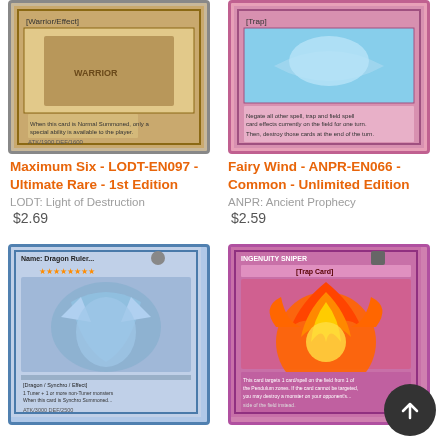[Figure (photo): Yu-Gi-Oh trading card: Maximum Six - LODT-EN097 - Ultimate Rare - 1st Edition, showing a warrior/effect card with brown/tan border]
Maximum Six - LODT-EN097 - Ultimate Rare - 1st Edition
LODT: Light of Destruction
$2.69
[Figure (photo): Yu-Gi-Oh trading card: Fairy Wind - ANPR-EN066 - Common - Unlimited Edition, showing a trap card with pink/purple border and sky/water scene]
Fairy Wind - ANPR-EN066 - Common - Unlimited Edition
ANPR: Ancient Prophecy
$2.59
[Figure (photo): Yu-Gi-Oh trading card: Dragon/Synchro/Effect monster with blue holographic art showing a large dragon, 8-star card]
[Figure (photo): Yu-Gi-Oh trading card: Trap card with pink/purple border showing a fiery explosion art (phoenix or fire-type imagery)]